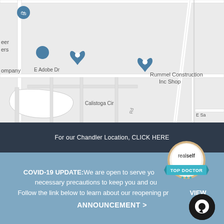[Figure (map): Google Maps screenshot showing local area with pins for Ciao Bella Cosmetic Surgery (red pin), Rummel Construction Inc Shop, Sellanddesignhome, Fauxesque (Temporarily closed), and other nearby businesses. Streets visible include N 76th Pl, E Adobe Dr, Calistoga Cir, E Sands Dr.]
For our Chandler Location, CLICK HERE
COVID-19 UPDATE: We are open to serve you and taking the necessary precautions to keep you and our staff safe. Follow the link below to learn about our reopening protocol. VIEW ANNOUNCEMENT >
[Figure (logo): RealSelf Top Doctor badge - circular medallion with ribbon banner saying TOP DOCTOR with stars]
[Figure (other): Chat icon - dark circular button]